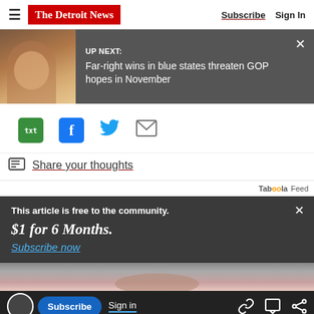The Detroit News — Subscribe  Sign In
[Figure (screenshot): Up Next banner with photo of woman in pink and headline: Far-right wins in blue states threaten GOP hopes in November]
[Figure (infographic): Social share icons: txt (green), Facebook (blue), Twitter bird (blue), email envelope (grey)]
Share your thoughts
Taboola Feed
This article is free to the community. $1 for 6 Months. Subscribe now
[Figure (photo): Partial photo of person's face/eyes visible at bottom]
Subscribe  Sign in  (icons: link, comment, share)